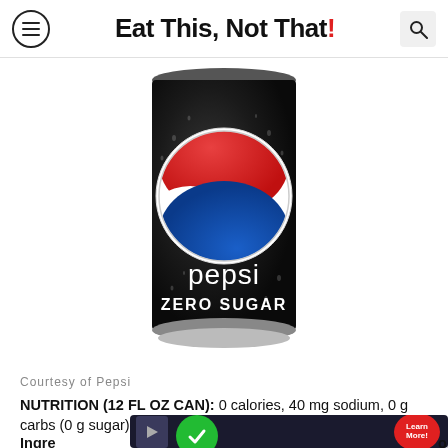Eat This, Not That!
[Figure (photo): Black Pepsi Zero Sugar 12 fl oz can with Pepsi globe logo (red, white, blue) on dark background with water droplets]
Courtesy of Pepsi
NUTRITION (12 FL OZ CAN): 0 calories, 40 mg sodium, 0 g carbs (0 g sugar)
Ingre... [partially obscured by ad] ...or,